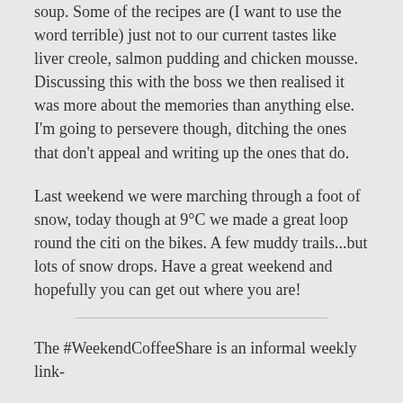soup.  Some of the recipes are (I want to use the word terrible) just not to our current tastes like liver creole, salmon pudding and chicken mousse.  Discussing this with the boss we then realised it was more about the memories than anything else.  I'm going to persevere though, ditching the ones that don't appeal and writing up the ones that do.
Last weekend we were marching through a foot of snow, today though at 9°C we made a great loop round the citi on the bikes.  A few muddy trails...but lots of snow drops.  Have a great weekend and hopefully you can get out where you are!
The #WeekendCoffeeShare is an informal weekly link-